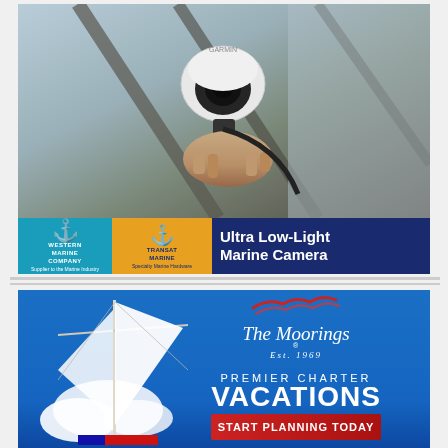[Figure (photo): Advertisement: Person's hand installing a white/black marine camera on a boat. Below the photo is a dark blue bar with Western Marine Company (blue logo) and Transat Marine (orange logo) logos on the left, and 'Ultra Low-Light Marine Camera' text in white on the right.]
[Figure (photo): Advertisement: The Moorings charter vacations. Blue background with sailboat mast on the left, The Moorings logo (Est. 1969) on the right, text 'PREMIER CHARTER VACATIONS' and a red button 'START PLANNING TODAY'.]